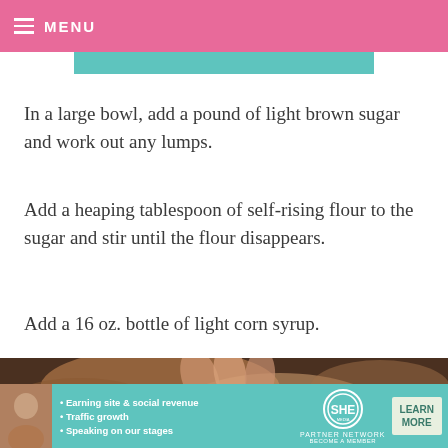MENU
In a large bowl, add a pound of light brown sugar and work out any lumps.
Add a heaping tablespoon of self-rising flour to the sugar and stir until the flour disappears.
Add a 16 oz. bottle of light corn syrup.
[Figure (photo): Close-up photo of hands working with baking tools/utensils, blurred bokeh background]
[Figure (infographic): SHE Partner Network advertisement banner with bullet points: Earning site & social revenue, Traffic growth, Speaking on our stages, BECOME A MEMBER, LEARN MORE button]